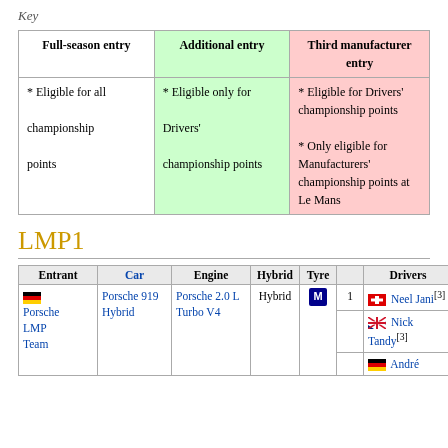Key
| Full-season entry | Additional entry | Third manufacturer entry |
| --- | --- | --- |
| * Eligible for all championship points | * Eligible only for Drivers' championship points | * Eligible for Drivers' championship points
* Only eligible for Manufacturers' championship points at Le Mans |
LMP1
| Entrant | Car | Engine | Hybrid | Tyre |  | Drivers | Rounds |
| --- | --- | --- | --- | --- | --- | --- | --- |
| Germany Porsche LMP Team | Porsche 919 Hybrid | Porsche 2.0 L Turbo V4 | Hybrid | M | 1 | Switzerland Neel Jani[3] | All |
|  |  |  |  |  |  | UK Nick Tandy[3] | All |
|  |  |  |  |  |  | Germany André ... | All |